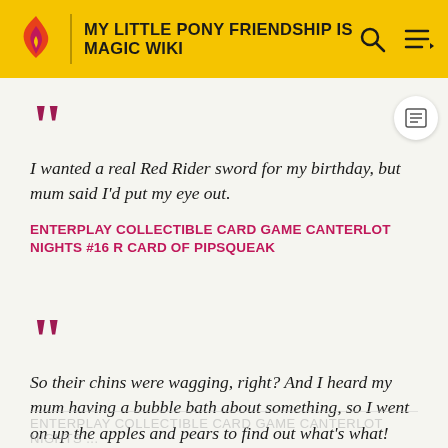MY LITTLE PONY FRIENDSHIP IS MAGIC WIKI
I wanted a real Red Rider sword for my birthday, but mum said I'd put my eye out.
ENTERPLAY COLLECTIBLE CARD GAME CANTERLOT NIGHTS #16 R CARD OF PIPSQUEAK
So their chins were wagging, right? And I heard my mum having a bubble bath about something, so I went on up the apples and pears to find out what's what!